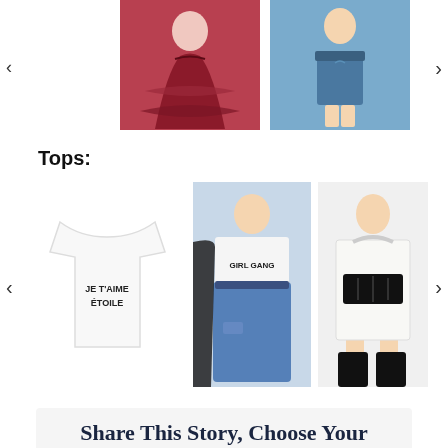[Figure (photo): Carousel navigation with two clothing photos: a red/burgundy ruffled dress and a blue denim mini skirt, with left arrow and refresh icon]
Tops:
[Figure (photo): Carousel of tops: white 'JE T'AIME ÉTOILE' t-shirt, 'GIRL GANG' crop top with jeans, white longline shirt with corset belt and thigh-high boots, with left and right navigation arrows]
[Figure (infographic): Share This Story, Choose Your Platform! with social media icons: Facebook, Twitter, Reddit, LinkedIn, WhatsApp, Telegram, Tumblr, Pinterest, VK, XING]